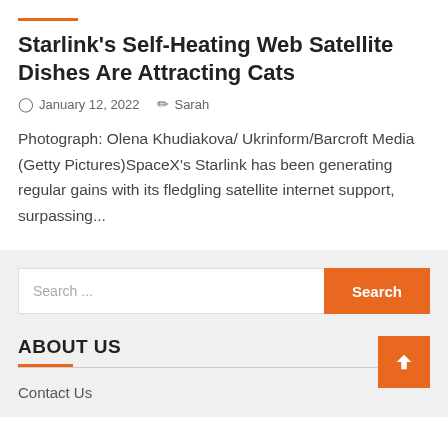Starlink's Self-Heating Web Satellite Dishes Are Attracting Cats
January 12, 2022  Sarah
Photograph: Olena Khudiakova/ Ukrinform/Barcroft Media (Getty Pictures)SpaceX's Starlink has been generating regular gains with its fledgling satellite internet support, surpassing...
Search ...
ABOUT US
Contact Us